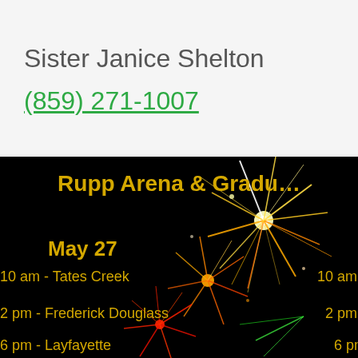Sister Janice Shelton
(859) 271-1007
[Figure (infographic): Graduation event flyer with fireworks background on black. Title reads 'Rupp Arena & Gradu...' (truncated). Shows May 27 schedule: 10 am - Tates Creek, 2 pm - Frederick Douglass, 6 pm - Lafayette, with mirrored times on right side.]